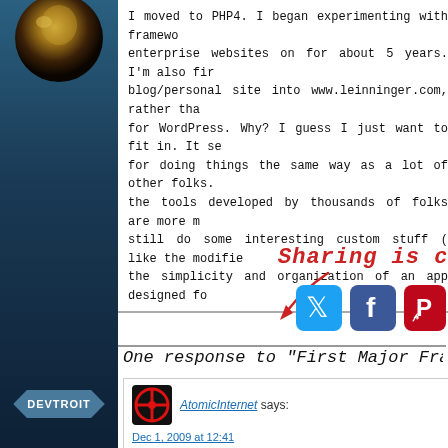[Figure (photo): Dark blue sidebar with avatar photo at top and DEVTROIT hexagon badge at bottom]
I moved to PHP4. I began experimenting with frameworks. I keep enterprise websites on for about 5 years. I'm also finally moving my blog/personal site into www.leinninger.com, rather than what I used for WordPress. Why? I guess I just want to fit in. It seems easier for doing things the same way as a lot of other folks. And many of the tools developed by thousands of folks are more mature. But I'll still do some interesting custom stuff (like the modifier) and I love the simplicity and organization of an app designed fo
[Figure (infographic): Sharing is caring! handwritten text in red with arrow pointing to Twitter, Facebook, Pinterest social share buttons]
One response to "First Major Framewo
[Figure (photo): AtomicInternet commenter avatar - red radioactive symbol on black background]
AtomicInternet says:
Dec 1, 2009 at 12:41
Despite the lack of an Xbox 360 controller, the system